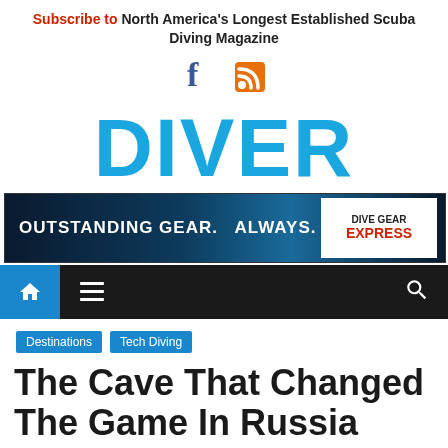Subscribe to North America's Longest Established Scuba Diving Magazine
[Figure (illustration): Facebook and RSS social media icons]
DIVER
[Figure (screenshot): Advertisement banner: OUTSTANDING GEAR. ALWAYS. Dive Gear Express]
[Figure (screenshot): Navigation bar with home, menu, and search icons]
Destinations  Tech Diving
The Cave That Changed The Game In Russia